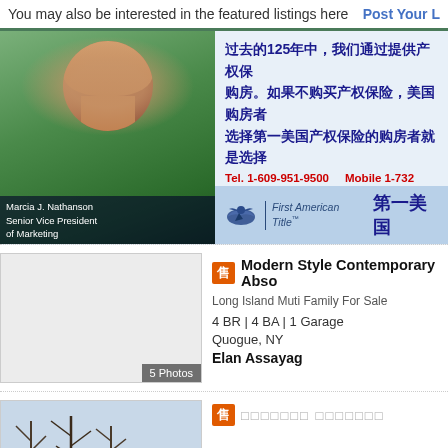You may also be interested in the featured listings here    Post Your L
[Figure (photo): Photo of Marcia J. Nathanson, Senior Vice President of Marketing, with green foliage background. Woman with short auburn hair wearing black top and pearl necklace.]
过去的125年中，我们通过提供产权保 购房。如果不购买产权保险，美国购房者 选择第一美国产权保险的购房者就是选择 Tel. 1-609-951-9500   Mobile 1-732
[Figure (logo): First American Title logo with eagle and Chinese text 第一美国]
[Figure (photo): Listing photo placeholder for Modern Style Contemporary property]
Modern Style Contemporary Abso
Long Island Muti Family For Sale
4 BR | 4 BA | 1 Garage
Quogue, NY
Elan Assayag
[Figure (photo): Winter landscape listing photo showing bare trees]
售 □□□□□□□ □□□□□□□